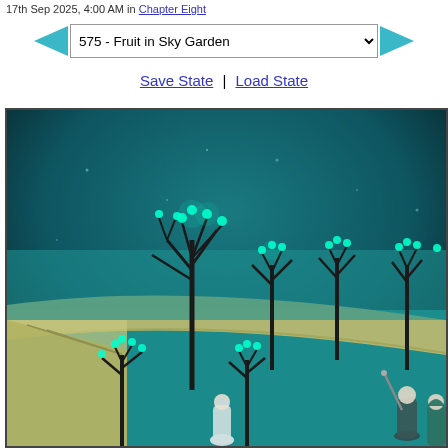17th Sep 2025, 4:00 AM in Chapter Eight
575 - Fruit in Sky Garden (dropdown)
Save State | Load State
[Figure (illustration): Anime/manga style illustration of a sky garden at night. Glowing teal/cyan trees with luminous blue-green fruit or blossoms are planted in a garden with a curved beige stone wall/railing. The background is a deep teal-dark sky with subtle light effects. Two small robed figures are visible at the lower right corner among the trees.]